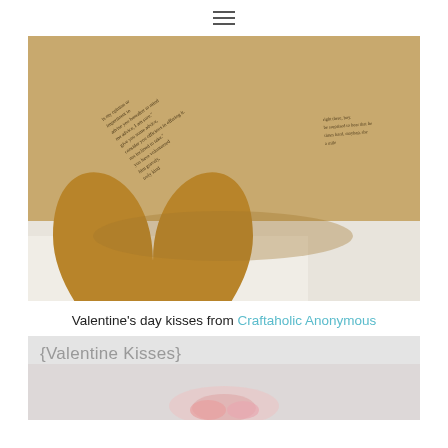☰
[Figure (photo): Brown kraft paper heart shapes cut-outs sitting on white paper, with text from a printed book visible on the hearts. The hearts show passages of old printed text, rotated at various angles.]
Valentine's day kisses from Craftaholic Anonymous
{Valentine Kisses}
[Figure (photo): Partial view of another image below, showing a light pinkish background with what appears to be candy or Valentine items, partially cut off at bottom of page.]